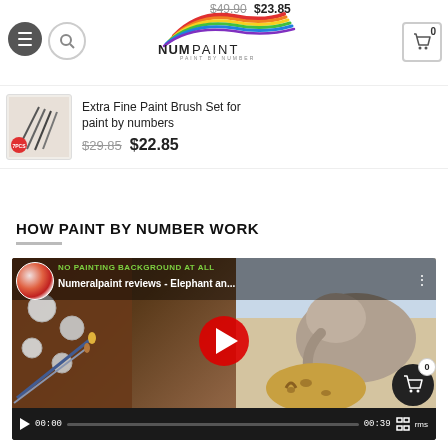NumPaint navigation header with logo, hamburger menu, search, cart
$49.90 $23.85
[Figure (screenshot): Product thumbnail showing paint brush set with 7pcs label]
Extra Fine Paint Brush Set for paint by numbers
$29.85  $22.85
HOW PAINT BY NUMBER WORK
[Figure (screenshot): YouTube video embed thumbnail showing Numeralpaint reviews - Elephant an... with play button, giraffe and elephant painting visible. Video controls show 00:00 to 00:39]